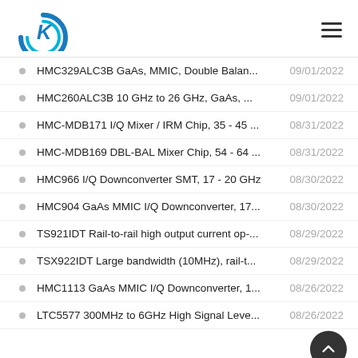KD Electronics logo and navigation
HMC329ALC3B GaAs, MMIC, Double Balan... 09/01/2022
HMC260ALC3B 10 GHz to 26 GHz, GaAs, ... 09/01/2022
HMC-MDB171 I/Q Mixer / IRM Chip, 35 - 45 ... 08/31/2022
HMC-MDB169 DBL-BAL Mixer Chip, 54 - 64 ... 08/31/2022
HMC966 I/Q Downconverter SMT, 17 - 20 GHz 08/30/2022
HMC904 GaAs MMIC I/Q Downconverter, 17... 08/30/2022
TS921IDT Rail-to-rail high output current op-... 08/29/2022
TSX922IDT Large bandwidth (10MHz), rail-t... 08/29/2022
HMC1113 GaAs MMIC I/Q Downconverter, 1... 08/26/2022
LTC5577 300MHz to 6GHz High Signal Leve... 08/26/2022